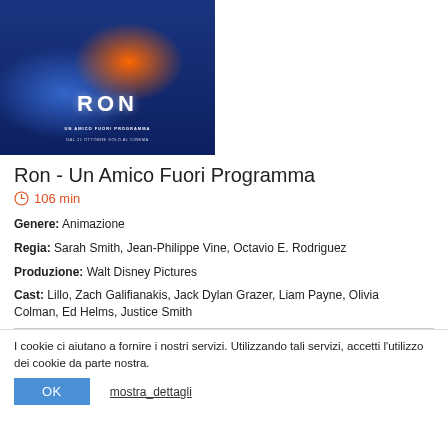[Figure (photo): Movie poster for 'Ron - Un Amico Fuori Programma' (Ron's Gone Wrong), showing animated characters, with text 'RON UN AMICO FUORI PROGRAMMA DAL 21 OTTOBRE SOLO AL CINEMA']
Ron - Un Amico Fuori Programma
106 min
Genere: Animazione
Regia: Sarah Smith, Jean-Philippe Vine, Octavio E. Rodriguez
Produzione: Walt Disney Pictures
Cast: Lillo, Zach Galifianakis, Jack Dylan Grazer, Liam Payne, Olivia Colman, Ed Helms, Justice Smith
I cookie ci aiutano a fornire i nostri servizi. Utilizzando tali servizi, accetti l'utilizzo dei cookie da parte nostra.
OK
mostra_dettagli